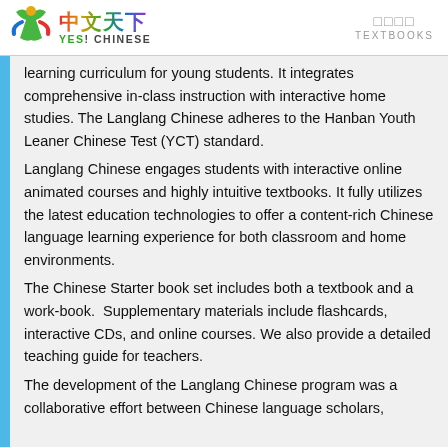中文天下 YES! CHINESE | 教科书 TEXTBOOKS
learning curriculum for young students. It integrates comprehensive in-class instruction with interactive home studies. The Langlang Chinese adheres to the Hanban Youth Leaner Chinese Test (YCT) standard. Langlang Chinese engages students with interactive online animated courses and highly intuitive textbooks. It fully utilizes the latest education technologies to offer a content-rich Chinese language learning experience for both classroom and home environments. The Chinese Starter book set includes both a textbook and a work-book.  Supplementary materials include flashcards, interactive CDs, and online courses. We also provide a detailed teaching guide for teachers. The development of the Langlang Chinese program was a collaborative effort between Chinese language scholars,